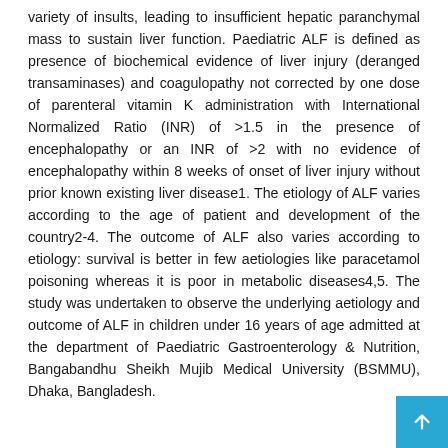variety of insults, leading to insufficient hepatic paranchymal mass to sustain liver function. Paediatric ALF is defined as presence of biochemical evidence of liver injury (deranged transaminases) and coagulopathy not corrected by one dose of parenteral vitamin K administration with International Normalized Ratio (INR) of >1.5 in the presence of encephalopathy or an INR of >2 with no evidence of encephalopathy within 8 weeks of onset of liver injury without prior known existing liver disease1. The etiology of ALF varies according to the age of patient and development of the country2-4. The outcome of ALF also varies according to etiology: survival is better in few aetiologies like paracetamol poisoning whereas it is poor in metabolic diseases4,5. The study was undertaken to observe the underlying aetiology and outcome of ALF in children under 16 years of age admitted at the department of Paediatric Gastroenterology & Nutrition, Bangabandhu Sheikh Mujib Medical University (BSMMU), Dhaka, Bangladesh.